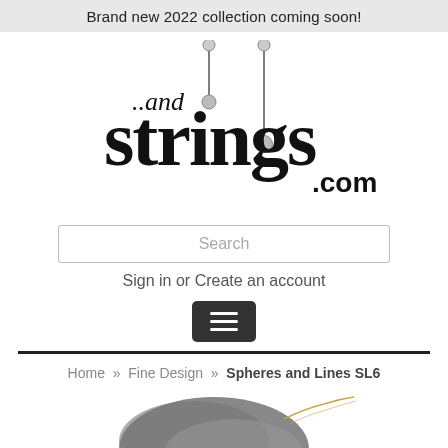Brand new 2022 collection coming soon!
[Figure (logo): ..and strings .com logo with decorative jewelry pin illustrations]
Search
Sign in or Create an account
[Figure (other): Hamburger menu button (three horizontal lines on dark rounded rectangle)]
Home  »  Fine Design  »  Spheres and Lines SL6
[Figure (photo): Partial photo of a gray stone/slate pendant product with a gold chain]